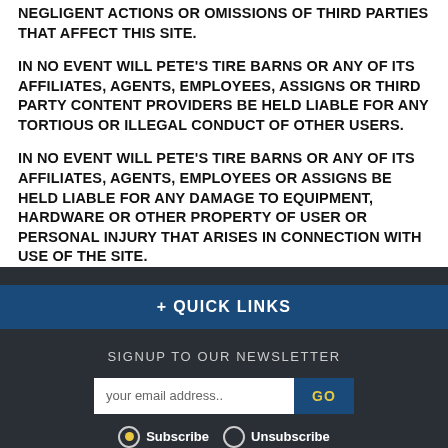NEGLIGENT ACTIONS OR OMISSIONS OF THIRD PARTIES THAT AFFECT THIS SITE.
IN NO EVENT WILL PETE'S TIRE BARNS OR ANY OF ITS AFFILIATES, AGENTS, EMPLOYEES, ASSIGNS OR THIRD PARTY CONTENT PROVIDERS BE HELD LIABLE FOR ANY TORTIOUS OR ILLEGAL CONDUCT OF OTHER USERS.
IN NO EVENT WILL PETE'S TIRE BARNS OR ANY OF ITS AFFILIATES, AGENTS, EMPLOYEES OR ASSIGNS BE HELD LIABLE FOR ANY DAMAGE TO EQUIPMENT, HARDWARE OR OTHER PROPERTY OF USER OR PERSONAL INJURY THAT ARISES IN CONNECTION WITH USE OF THE SITE.
+ QUICK LINKS
SIGNUP TO OUR NEWSLETTER
your email address..
GO
Subscribe   Unsubscribe